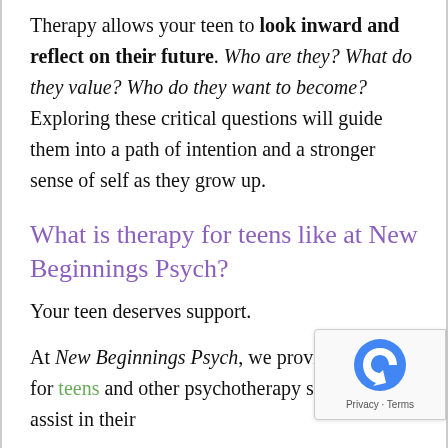Therapy allows your teen to look inward and reflect on their future. Who are they? What do they value? Who do they want to become? Exploring these critical questions will guide them into a path of intention and a stronger sense of self as they grow up.
What is therapy for teens like at New Beginnings Psych?
Your teen deserves support.
At New Beginnings Psych, we provide therapy for teens and other psychotherapy services to assist in their